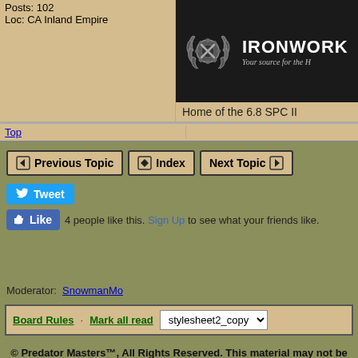Posts: 102
Loc: CA Inland Empire
[Figure (logo): Ironworks forum banner with gear emblem logo and text 'IRONWORK' and 'Your source for the H' visible, partially cropped]
Home of the 6.8 SPC II
Top
Previous Topic   Index   Next Topic
Tweet
Like  4 people like this. Sign Up to see what your friends like.
Moderator:  SnowmanMo
Board Rules · Mark all read  stylesheet2_copy
© Predator Masters™, All Rights Reserved. This material may not be published, broadcast, rewritten, or redistributed.
Powered by UBB.threads™ PHP Forum Software 7.5.6p2